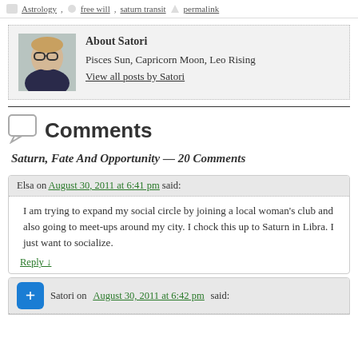Astrology | free will | saturn transit | permalink
About Satori
Pisces Sun, Capricorn Moon, Leo Rising
View all posts by Satori
Comments
Saturn, Fate And Opportunity — 20 Comments
Elsa on August 30, 2011 at 6:41 pm said:
I am trying to expand my social circle by joining a local woman's club and also going to meet-ups around my city. I chock this up to Saturn in Libra. I just want to socialize.
Reply ↓
Satori on August 30, 2011 at 6:42 pm said: